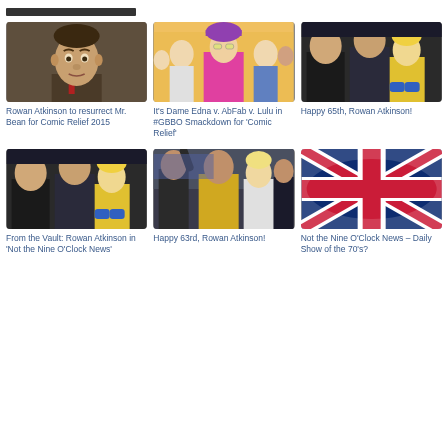[Figure (photo): Rowan Atkinson as Mr. Bean, close-up portrait in suit with red tie]
Rowan Atkinson to resurrect Mr. Bean for Comic Relief 2015
[Figure (photo): Group photo with Dame Edna in pink outfit, AbFab and Lulu cast members]
It's Dame Edna v. AbFab v. Lulu in #GBBO Smackdown for 'Comic Relief'
[Figure (photo): Group of people including man in leather jacket and woman with yellow outfit]
Happy 65th, Rowan Atkinson!
[Figure (photo): From the Vault group photo similar to earlier image]
From the Vault: Rowan Atkinson in 'Not the Nine O'Clock News'
[Figure (photo): Group of young people, man in yellow jacket]
Happy 63rd, Rowan Atkinson!
[Figure (photo): Union Jack / British flag waving]
Not the Nine O'Clock News – Daily Show of the 70's?